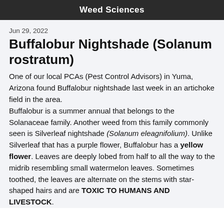Weed Sciences
Jun 29, 2022
Buffalobur Nightshade (Solanum rostratum)
One of our local PCAs (Pest Control Advisors) in Yuma, Arizona found Buffalobur nightshade last week in an artichoke field in the area.
Buffalobur is a summer annual that belongs to the Solanaceae family. Another weed from this family commonly seen is Silverleaf nightshade (Solanum eleagnifolium). Unlike Silverleaf that has a purple flower, Buffalobur has a yellow flower. Leaves are deeply lobed from half to all the way to the midrib resembling small watermelon leaves. Sometimes toothed, the leaves are alternate on the stems with star-shaped hairs and are TOXIC TO HUMANS AND LIVESTOCK.